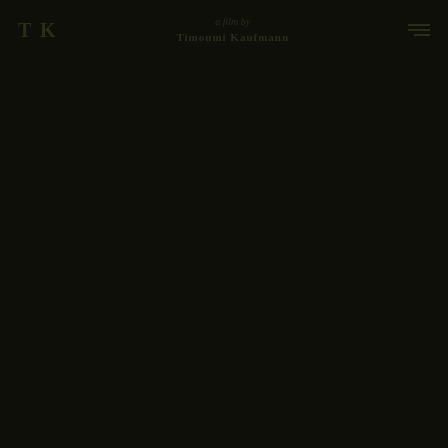TK — a film by Timoumi Kaufmann [hamburger menu]